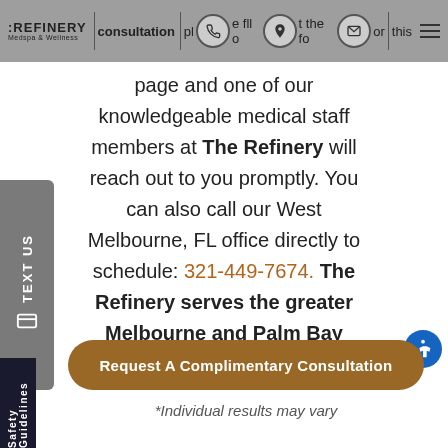The Refinery Medspa & Wellness — consultation — please fill out the form on this page
page and one of our knowledgeable medical staff members at The Refinery will reach out to you promptly. You can also call our West Melbourne, FL office directly to schedule: 321-449-7674. The Refinery serves the greater Melbourne and Palm Bay areas.
Request A Complimentary Consultation
*Individual results may vary